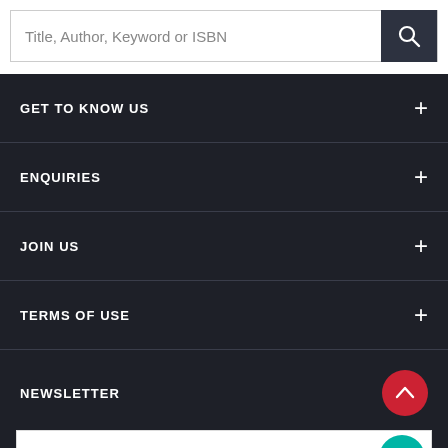Title, Author, Keyword or ISBN
GET TO KNOW US
ENQUIRIES
JOIN US
TERMS OF USE
NEWSLETTER
Your email